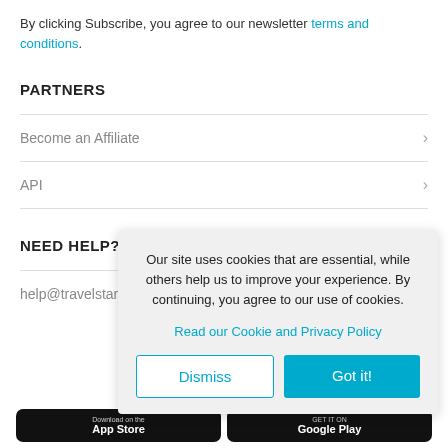By clicking Subscribe, you agree to our newsletter terms and conditions.
PARTNERS
Become an Affiliate
API
NEED HELP?
help@travelstar…
Our site uses cookies that are essential, while others help us to improve your experience. By continuing, you agree to our use of cookies.
Read our Cookie and Privacy Policy
Dismiss
Got it!
[Figure (screenshot): App store download buttons for Apple App Store and Google Play]